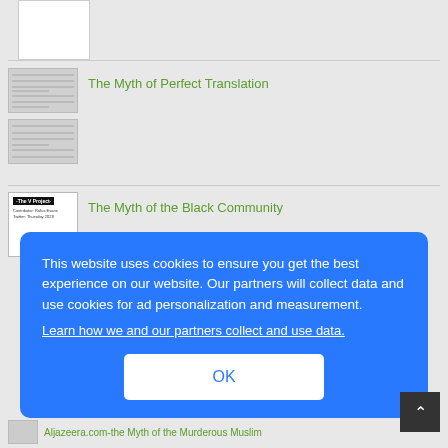[Figure (screenshot): Blank white thumbnail image at top]
The Myth of Perfect Translation
The Myth of the Black Community
This website uses cookies to ensure you get the best experience on our website. Our partners will collect data and use cookies for ad personalization and measurement.
Learn how we and our partners collect and use data.
OK
Aljazeera.com-the Myth of the Murderous Muslim